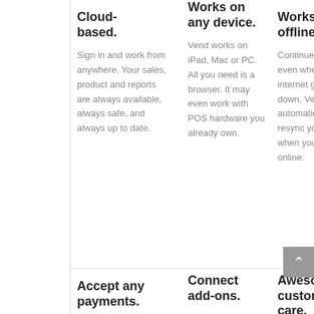Cloud-based.
Sign in and work from anywhere. Your sales, product and reports are always available, always safe, and always up to date.
Works on any device.
Vend works on iPad, Mac or PC. All you need is a browser. It may even work with POS hardware you already own.
Works offline.
Continue selling even when the internet goes down, Vend will automatically resync your sales when you're back online.
Accept any payments.
Connect add-ons.
Vend connects to
Awesome customer care.